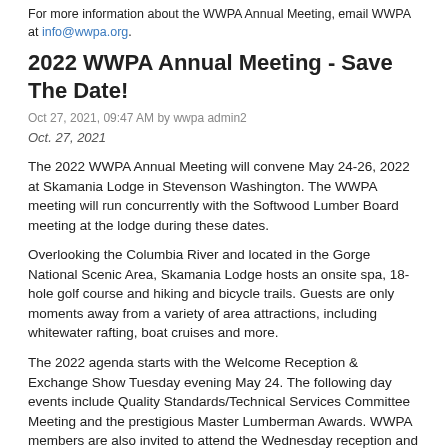For more information about the WWPA Annual Meeting, email WWPA at info@wwpa.org.
2022 WWPA Annual Meeting - Save The Date!
Oct 27, 2021, 09:47 AM by wwpa admin2
Oct. 27, 2021
The 2022 WWPA Annual Meeting will convene May 24-26, 2022 at Skamania Lodge in Stevenson Washington. The WWPA meeting will run concurrently with the Softwood Lumber Board meeting at the lodge during these dates.
Overlooking the Columbia River and located in the Gorge National Scenic Area, Skamania Lodge hosts an onsite spa, 18-hole golf course and hiking and bicycle trails. Guests are only moments away from a variety of area attractions, including whitewater rafting, boat cruises and more.
The 2022 agenda starts with the Welcome Reception & Exchange Show Tuesday evening May 24. The following day events include Quality Standards/Technical Services Committee Meeting and the prestigious Master Lumberman Awards. WWPA members are also invited to attend the Wednesday reception and dinner hosted by the